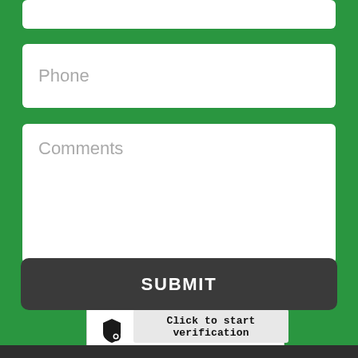[Figure (screenshot): Partial top input field (cut off at top of page)]
Phone
Comments
[Figure (other): Anti-Robot Verification widget with FriendlyCaptcha shield icon and 'Click to start verification' button]
SUBMIT